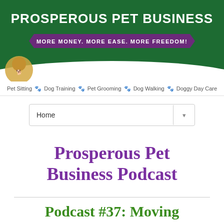[Figure (logo): Prosperous Pet Business website header banner with dark green background, site title 'PROSPEROUS PET BUSINESS' in white bold text, purple ribbon banner with 'MORE MONEY. MORE EASE. MORE FREEDOM!', and navigation bar with pet service categories]
Pet Sitting 🐾 Dog Training 🐾 Pet Grooming 🐾 Dog Walking 🐾 Doggy Day Care
Home
Prosperous Pet Business Podcast
Podcast #37: Moving